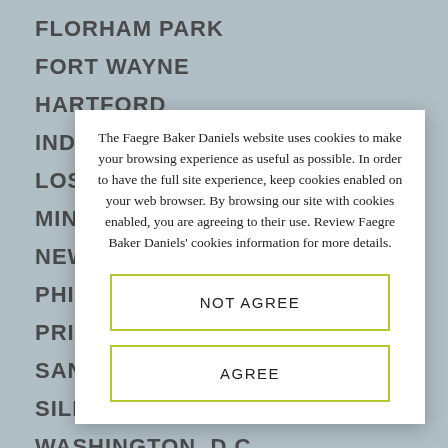FLORHAM PARK
FORT WAYNE
HARTFORD
INDIANAPOLIS
LOS ANGELES
MINNEAPOLIS
NEW YORK
PHILADELPHIA
PRINCETON
SAN FRANCISCO
SILICON VALLEY
WASHINGTON, D.C.
WILMINGTON
LONDON
The Faegre Baker Daniels website uses cookies to make your browsing experience as useful as possible. In order to have the full site experience, keep cookies enabled on your web browser. By browsing our site with cookies enabled, you are agreeing to their use. Review Faegre Baker Daniels' cookies information for more details.
NOT AGREE
AGREE